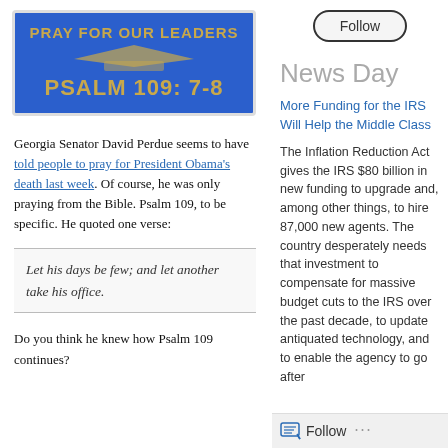[Figure (infographic): Blue banner image with gold/yellow bold text reading 'PRAY FOR OUR LEADERS' and 'PSALM 109: 7-8' with a graduation cap graphic in the middle]
Georgia Senator David Perdue seems to have told people to pray for President Obama's death last week. Of course, he was only praying from the Bible. Psalm 109, to be specific. He quoted one verse:
Let his days be few; and let another take his office.
Do you think he knew how Psalm 109 continues?
Follow
News Day
More Funding for the IRS Will Help the Middle Class
The Inflation Reduction Act gives the IRS $80 billion in new funding to upgrade and, among other things, to hire 87,000 new agents. The country desperately needs that investment to compensate for massive budget cuts to the IRS over the past decade, to update antiquated technology, and to enable the agency to go after
Follow ...